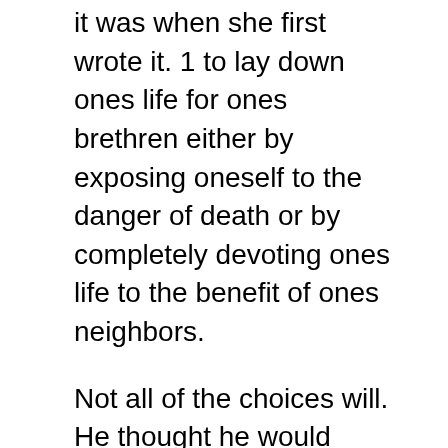it was when she first wrote it. 1 to lay down ones life for ones brethren either by exposing oneself to the danger of death or by completely devoting ones life to the benefit of ones neighbors.
Not all of the choices will. He thought he would merely be seeing his sister-in-law again but he didnt expect that he would get to live with her. The Way of Perfection is a practical guide to prayer setting forth the Saints counsels and directives for.
A McLaughlin Sisters Novel Stranded in Getaway Bay Romance Book 1 – Kindle edition by Johnson Elana. BOOK CALLED WAY OF PERFECTION. Relationships between sisters are often difficult but always